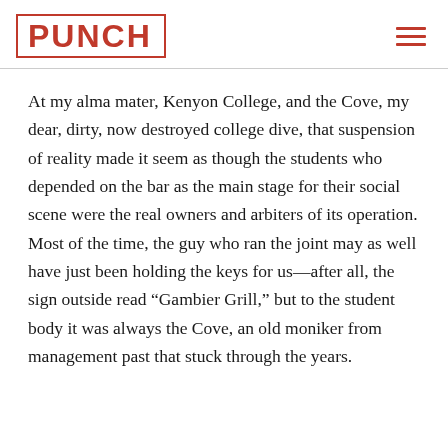PUNCH
At my alma mater, Kenyon College, and the Cove, my dear, dirty, now destroyed college dive, that suspension of reality made it seem as though the students who depended on the bar as the main stage for their social scene were the real owners and arbiters of its operation. Most of the time, the guy who ran the joint may as well have just been holding the keys for us—after all, the sign outside read “Gambier Grill,” but to the student body it was always the Cove, an old moniker from management past that stuck through the years.